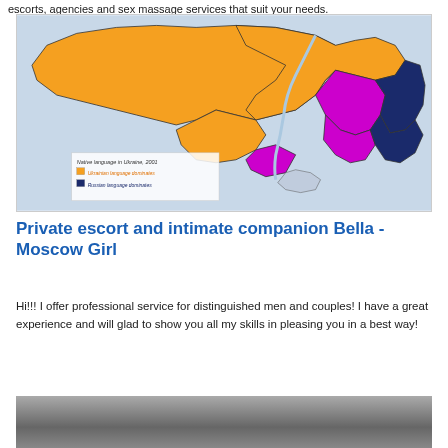escorts, agencies and sex massage services that suit your needs.
[Figure (map): Map of Ukraine showing native language dominance in 2001. Orange regions indicate Ukrainian language dominant areas (most of western and central Ukraine). Magenta/purple regions show mixed or transitional areas. Dark navy blue regions indicate Russian language dominant areas (eastern Ukraine). Light blue indicates water bodies. Legend reads: 'Native language in Ukraine, 2001 / Ukrainian language dominates / Russian language dominates']
Private escort and intimate companion Bella - Moscow Girl
Hi!!! I offer professional service for distinguished men and couples! I have a great experience and will glad to show you all my skills in pleasing you in a best way!
[Figure (photo): Partial photo at bottom of page, mostly obscured/cropped]